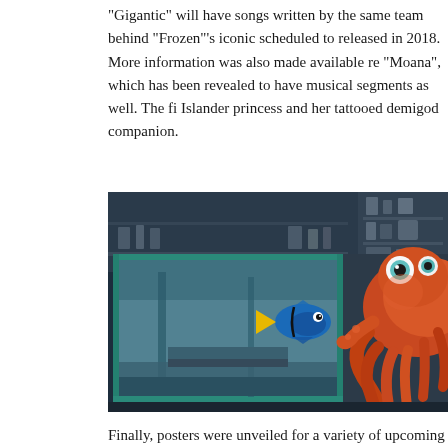“Gigantic” will have songs written by the same team behind “Frozen”’s iconic… scheduled to released in 2018. More information was also made available re… “Moana”, which has been revealed to have musical segments as well. The fi… Islander princess and her tattooed demigod companion.
[Figure (photo): Still from Finding Dory showing Dory the blue tang fish in a tank and Hank the red octopus outside the tank in what appears to be a marine research facility.]
Finally, posters were unveiled for a variety of upcoming projects, some of wh… before the expo. These include teaser posters for “Toy Story 4”, “The Incred…